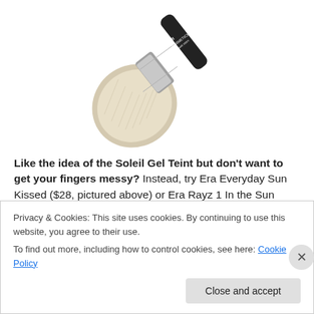[Figure (photo): A makeup brush (IT Cosmetics brand) with a large fluffy powder brush head, silver ferrule, and black handle with branding text, photographed diagonally on white background.]
Like the idea of the Soleil Gel Teint but don't want to get your fingers messy? Instead, try Era Everyday Sun Kissed ($28, pictured above) or Era Rayz 1 In the Sun ($40) spray bronzers! 1 in the Sun has more pigment than
Privacy & Cookies: This site uses cookies. By continuing to use this website, you agree to their use.
To find out more, including how to control cookies, see here: Cookie Policy
Close and accept